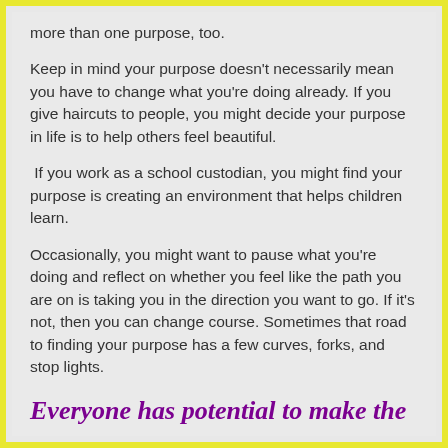more than one purpose, too.
Keep in mind your purpose doesn't necessarily mean you have to change what you're doing already. If you give haircuts to people, you might decide your purpose in life is to help others feel beautiful.
If you work as a school custodian, you might find your purpose is creating an environment that helps children learn.
Occasionally, you might want to pause what you're doing and reflect on whether you feel like the path you are on is taking you in the direction you want to go. If it's not, then you can change course. Sometimes that road to finding your purpose has a few curves, forks, and stop lights.
Everyone has potential to make the world a better place